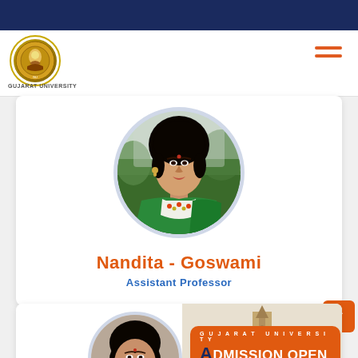[Figure (logo): Gujarat University logo/seal — circular emblem with orange-red hamburger menu icon in top right]
Gujarat University
[Figure (photo): Circular profile photo of Nandita Goswami, a woman wearing a green saree with embroidered neckline, in an outdoor setting]
Nandita - Goswami
Assistant Professor
[Figure (photo): Partial circular profile photo of a second woman, with Gujarat University tower building visible in background]
GUJARAT UNIVERSITY
ADMISSION OPEN
MORE DETAILS